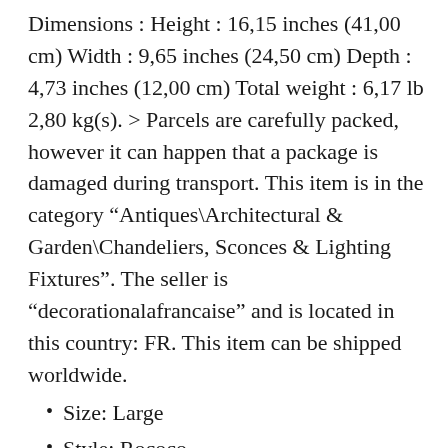Dimensions : Height : 16,15 inches (41,00 cm) Width : 9,65 inches (24,50 cm) Depth : 4,73 inches (12,00 cm) Total weight : 6,17 lb 2,80 kg(s). > Parcels are carefully packed, however it can happen that a package is damaged during transport. This item is in the category “Antiques\Architectural & Garden\Chandeliers, Sconces & Lighting Fixtures”. The seller is “decorationalafrancaise” and is located in this country: FR. This item can be shipped worldwide.
Size: Large
Style: Rococo
Decade: 1980s
Material: Bronze